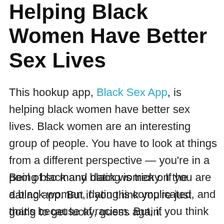Helping Black Women Have Better Sex Lives
This hookup app, Black Sex App, is helping black women have better sex lives. Black women are an interesting group of people. You have to look at things from a different perspective — you're in a pool of so many black women on the dating app. But if you think you're just going to get lucky, guess again.
Being black and dating is tricky. If you are a black woman, dating is complicated, and that's because of racism. But, if you think that you are just a person with the same morals, and you can just get with anyone,